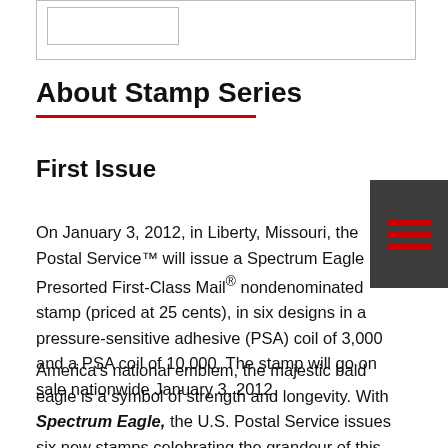[Figure (other): Partial stamp or image box with inner outlined rectangle, cropped at top of page]
About Stamp Series
First Issue
On January 3, 2012, in Liberty, Missouri, the Postal Service™ will issue a Spectrum Eagle Presorted First-Class Mail® nondenominated stamp (priced at 25 cents), in six designs in a pressure-sensitive adhesive (PSA) coil of 3,000 and a PSA coil of 10,000. The stamp will go on sale nationwide January 3, 2012.
America's national emblem, the majestic bald eagle is a symbol of strength and longevity. With Spectrum Eagle, the U.S. Postal Service issues six new stamps celebrating the grandeur of this magnificent bird.
[Figure (other): Dark grey hamburger menu button with three red horizontal lines on the right side of the page]